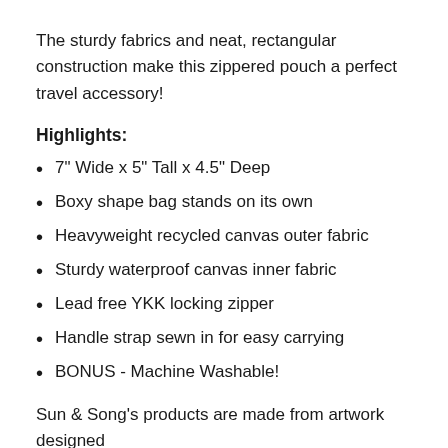The sturdy fabrics and neat, rectangular construction make this zippered pouch a perfect travel accessory!
Highlights:
7" Wide x 5" Tall x 4.5" Deep
Boxy shape bag stands on its own
Heavyweight recycled canvas outer fabric
Sturdy waterproof canvas inner fabric
Lead free YKK locking zipper
Handle strap sewn in for easy carrying
BONUS - Machine Washable!
Sun & Song's products are made from artwork designed